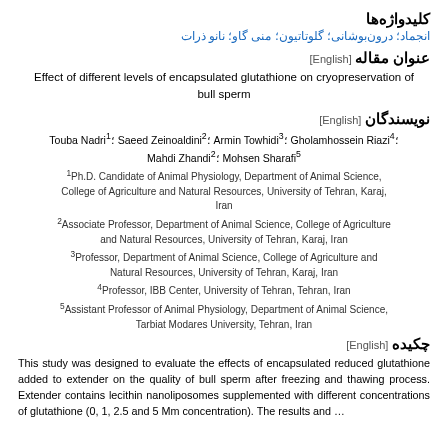کلیدواژه‌ها
انجماد؛ درون‌بوشانی؛ گلوتاتیون؛ منی گاو؛ نانو ذرات
عنوان مقاله [English]
Effect of different levels of encapsulated glutathione on cryopreservation of bull sperm
نویسندگان [English]
Touba Nadri¹؛ Saeed Zeinoaldini²؛ Armin Towhidi³؛ Gholamhossein Riazi⁴؛ Mahdi Zhandi²؛ Mohsen Sharafi⁵
¹Ph.D. Candidate of Animal Physiology, Department of Animal Science, College of Agriculture and Natural Resources, University of Tehran, Karaj, Iran
²Associate Professor, Department of Animal Science, College of Agriculture and Natural Resources, University of Tehran, Karaj, Iran
³Professor, Department of Animal Science, College of Agriculture and Natural Resources, University of Tehran, Karaj, Iran
⁴Professor, IBB Center, University of Tehran, Tehran, Iran
⁵Assistant Professor of Animal Physiology, Department of Animal Science, Tarbiat Modares University, Tehran, Iran
چکیده [English]
This study was designed to evaluate the effects of encapsulated reduced glutathione added to extender on the quality of bull sperm after freezing and thawing process. Extender contains lecithin nanoliposomes supplemented with different concentrations of glutathione (0, 1, 2.5 and 5 Mm concentration). The results and ...